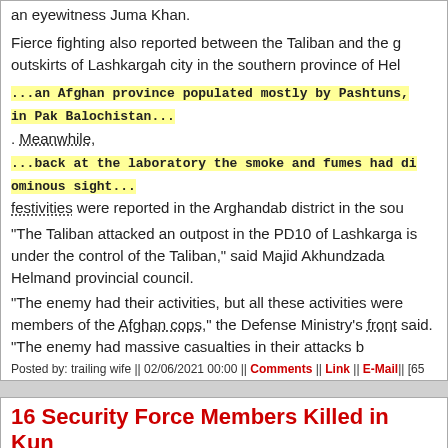an eyewitness Juma Khan.
Fierce fighting also reported between the Taliban and the g outskirts of Lashkargah city in the southern province of Hel
...an Afghan province populated mostly by Pashtuns, in Pak Balochistan...
. Meanwhile,
...back at the laboratory the smoke and fumes had di ominous sight...
festivities were reported in the Arghandab district in the sou
"The Taliban attacked an outpost in the PD10 of Lashkarga is under the control of the Taliban," said Majid Akhundzada Helmand provincial council.
"The enemy had their activities, but all these activities were members of the Afghan cops," the Defense Ministry's front said. "The enemy had massive casualties in their attacks b
Posted by: trailing wife || 02/06/2021 00:00 || Comments || Link || E-Mail|| [65
16 Security Force Members Killed in Kun
[ToloNews] A security source said on Friday that 16 securit and two more were maimed in a Taliban